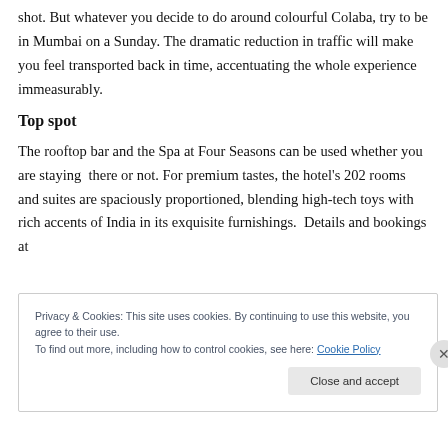shot. But whatever you decide to do around colourful Colaba, try to be in Mumbai on a Sunday. The dramatic reduction in traffic will make you feel transported back in time, accentuating the whole experience immeasurably.
Top spot
The rooftop bar and the Spa at Four Seasons can be used whether you are staying there or not. For premium tastes, the hotel's 202 rooms and suites are spaciously proportioned, blending high-tech toys with rich accents of India in its exquisite furnishings. Details and bookings at
Privacy & Cookies: This site uses cookies. By continuing to use this website, you agree to their use.
To find out more, including how to control cookies, see here: Cookie Policy